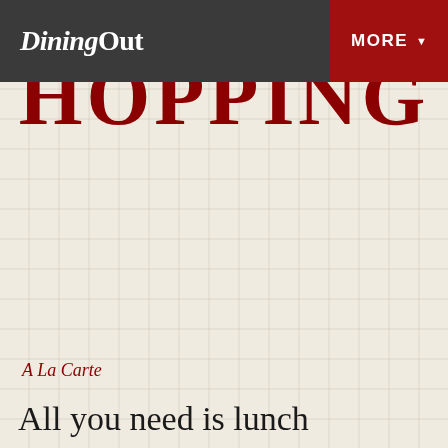Dining Out | MORE
HOPPING
A La Carte
All you need is lunch